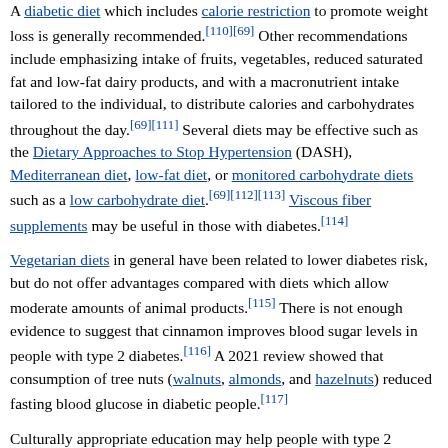A diabetic diet which includes calorie restriction to promote weight loss is generally recommended.[110][69] Other recommendations include emphasizing intake of fruits, vegetables, reduced saturated fat and low-fat dairy products, and with a macronutrient intake tailored to the individual, to distribute calories and carbohydrates throughout the day.[69][111] Several diets may be effective such as the Dietary Approaches to Stop Hypertension (DASH), Mediterranean diet, low-fat diet, or monitored carbohydrate diets such as a low carbohydrate diet.[69][112][113] Viscous fiber supplements may be useful in those with diabetes.[114]
Vegetarian diets in general have been related to lower diabetes risk, but do not offer advantages compared with diets which allow moderate amounts of animal products.[115] There is not enough evidence to suggest that cinnamon improves blood sugar levels in people with type 2 diabetes.[116] A 2021 review showed that consumption of tree nuts (walnuts, almonds, and hazelnuts) reduced fasting blood glucose in diabetic people.[117]
Culturally appropriate education may help people with type 2 diabetes control their blood sugar levels for up to 24 months.[118] There is not enough evidence to determine if lifestyle interventions affect mortality in those who already have type 2 diabetes.[86]